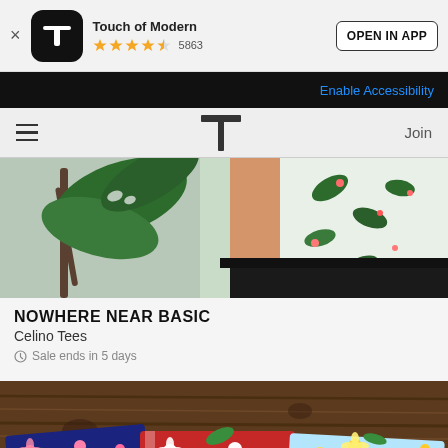[Figure (screenshot): Touch of Modern app banner with logo, star rating (4.5 stars, 5863 reviews), and OPEN IN APP button]
Enable Accessibility
[Figure (screenshot): Navigation bar with hamburger menu, Touch of Modern T logo, and Join link]
[Figure (photo): Person wearing a tropical floral print shirt (Celino Tees) with green monstera plant in background]
NOWHERE NEAR BASIC
Celino Tees
Sale ends in 5 days
[Figure (photo): Hawaiian/tropical print shirts laid out on a wooden surface]